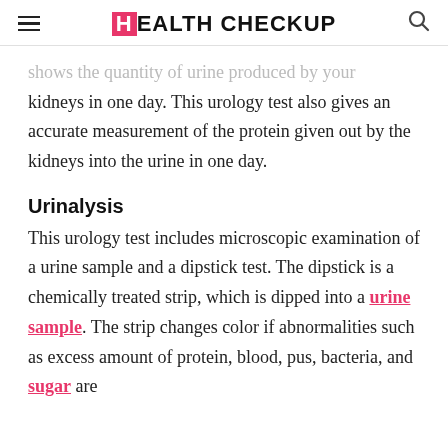HEALTH CHECKUP
shows the quantity of urine produced by your kidneys in one day. This urology test also gives an accurate measurement of the protein given out by the kidneys into the urine in one day.
Urinalysis
This urology test includes microscopic examination of a urine sample and a dipstick test. The dipstick is a chemically treated strip, which is dipped into a urine sample. The strip changes color if abnormalities such as excess amount of protein, blood, pus, bacteria, and sugar are